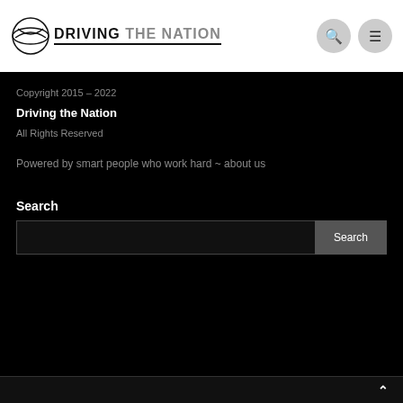DRIVING THE NATION
Copyright 2015 - 2022
Driving the Nation
All Rights Reserved
Powered by smart people who work hard ~ about us
Search
Search